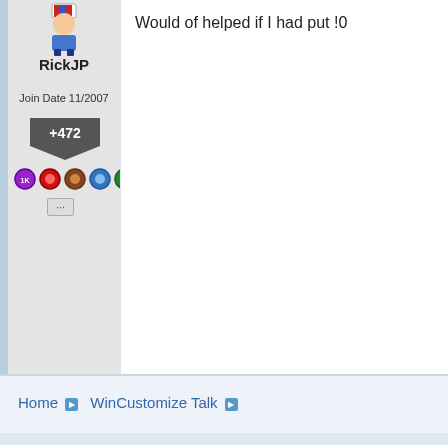RickJP
Join Date 11/2007
+472
Would of helped if I had put !0
Home ▶  WinCustomize Talk ▶
Welcome Guest! Please take the time to register w
There are many great features available to you once y
Richer content, access to many features that are
Access to a great community, with a massive dat
Access to contests & subscription offers like excl
It's simple, and FREE!